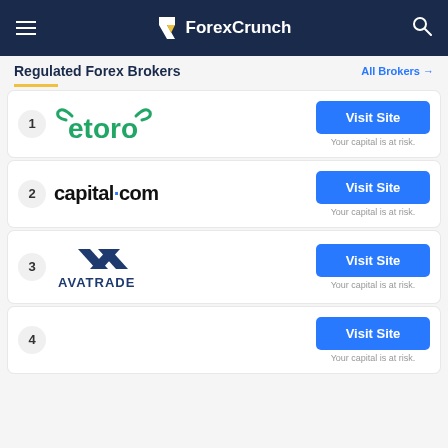ForexCrunch
Regulated Forex Brokers
All Brokers →
1 eToro — Visit Site. Your capital is at risk.
2 capital.com — Visit Site. Your capital is at risk.
3 AvaTrade — Visit Site. Your capital is at risk.
4 — Visit Site. Your capital is at risk.